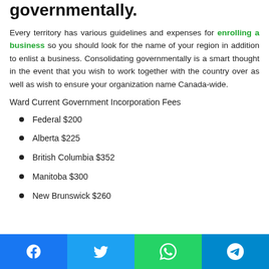governmentally.
Every territory has various guidelines and expenses for enrolling a business so you should look for the name of your region in addition to enlist a business. Consolidating governmentally is a smart thought in the event that you wish to work together with the country over as well as wish to ensure your organization name Canada-wide.
Ward Current Government Incorporation Fees
Federal $200
Alberta $225
British Columbia $352
Manitoba $300
New Brunswick $260